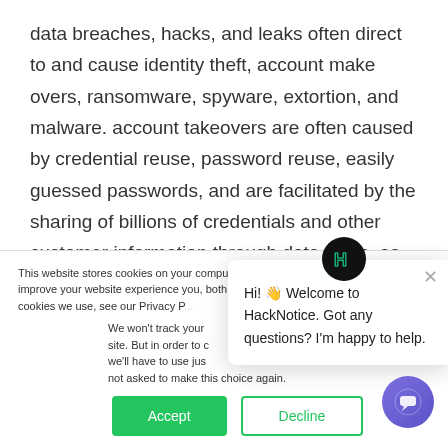data breaches, hacks, and leaks often direct to and cause identity theft, account make overs, ransomware, spyware, extortion, and malware. account takeovers are often caused by credential reuse, password reuse, easily guessed passwords, and are facilitated by the sharing of billions of credentials and other customer information through data leaks, as the direct result of data breaches and
This website stores cookies on your computer. These are used to improve your website experience you, both on this website and through cookies we use, see our Privacy P...
We won't track your site. But in order to c we'll have to use jus not asked to make this choice again.
[Figure (screenshot): HackNotice chat popup with logo, close button, and welcome message: Hi! Welcome to HackNotice. Got any questions? I'm happy to help.]
Accept
Decline